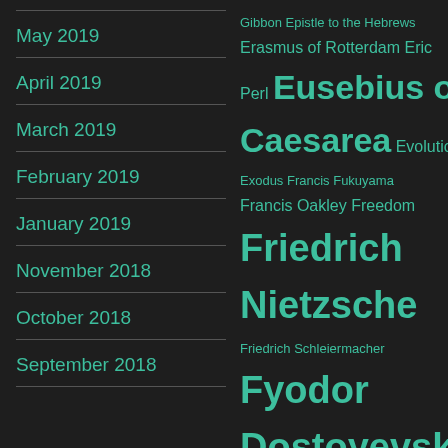May 2019
April 2019
March 2019
February 2019
January 2019
November 2018
October 2018
September 2018
Gibbon Epistle to the Hebrews Erasmus of Rotterdam Eric Perl Eusebius of Caesarea Evolution Exodus Francis Fukuyama Francis Oakley Freedom Friedrich Nietzsche Friedrich Schleiermacher Fyodor Dostoyevsky Gabriel Biel Gerard O'Daly Gershom Scholem Gospel According to John Gospel According to Luke Gospel According to Mark Gospel According to